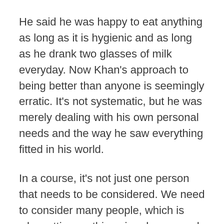He said he was happy to eat anything as long as it is hygienic and as long as he drank two glasses of milk everyday. Now Khan's approach to being better than anyone is seemingly erratic. It's not systematic, but he was merely dealing with his own personal needs and the way he saw everything fitted in his world.
In a course, it's not just one person that needs to be considered. We need to consider many people, which is why setting up things in advance and having a decent amount of precision is crucial to making things easier for your clients as well as for yourself.
In this episode, we'll look at why some online